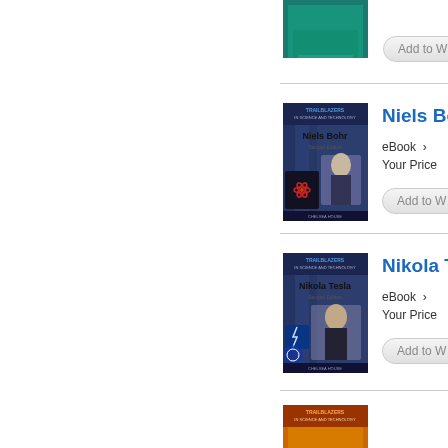[Figure (illustration): Partial book cover at top of page (cropped), appears to be a Trailblazers science book with teal/green background]
Add to W
[Figure (illustration): Book cover: Trailblazers in Science and Technology - Niels Bohr, Second Edition. Blue/dark background with image of Niels Bohr and atomic imagery.]
Niels Bo
eBook  ›
Your Price
Add to W
[Figure (illustration): Book cover: Trailblazers in Science and Technology - Nikola Tesla, Second Edition. Blue background with portrait of Nikola Tesla and electric imagery.]
Nikola T
eBook  ›
Your Price
Add to W
[Figure (illustration): Partial book cover at bottom of page (cropped)]